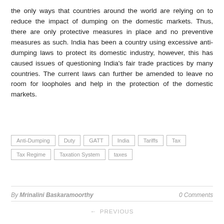the only ways that countries around the world are relying on to reduce the impact of dumping on the domestic markets. Thus, there are only protective measures in place and no preventive measures as such. India has been a country using excessive anti-dumping laws to protect its domestic industry, however, this has caused issues of questioning India's fair trade practices by many countries. The current laws can further be amended to leave no room for loopholes and help in the protection of the domestic markets.
Anti-Dumping
Duty
GATT
India
Tariffs
Tax
Tax Regime
Taxation System
taxes
By Mrinalini Baskaramoorthy    0 Comments
← PREVIOUS